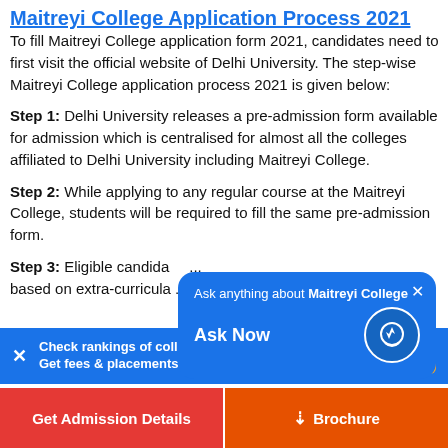Maitreyi College Application Process 2021
To fill Maitreyi College application form 2021, candidates need to first visit the official website of Delhi University. The step-wise Maitreyi College application process 2021 is given below:
Step 1: Delhi University releases a pre-admission form available for admission which is centralised for almost all the colleges affiliated to Delhi University including Maitreyi College.
Step 2: While applying to any regular course at the Maitreyi College, students will be required to fill the same pre-admission form.
Step 3: Eligible candidates...based on extra-curricular...
[Figure (other): Chatbot popup overlay: 'Ask anything about Maitreyi College' with 'Ask Now' button and lightning bolt icon, blue rounded rectangle, close button X]
Check rankings of colleges by course. Get fees & placements
Check Rankings
Get Admission Details
Brochure